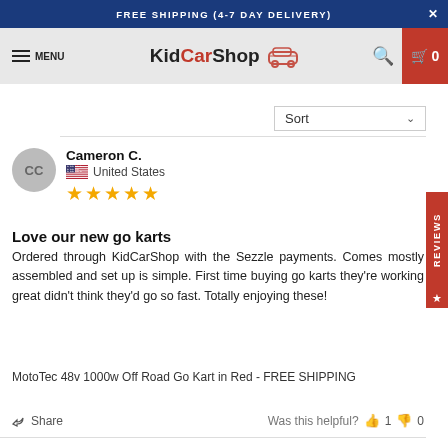FREE SHIPPING (4-7 DAY DELIVERY)
[Figure (logo): KidCarShop logo with car icon, menu icon, search icon, and cart with 0 items]
Sort
Cameron C. — United States — 5 stars
Love our new go karts
Ordered through KidCarShop with the Sezzle payments. Comes mostly assembled and set up is simple. First time buying go karts they're working great didn't think they'd go so fast. Totally enjoying these!
MotoTec 48v 1000w Off Road Go Kart in Red - FREE SHIPPING
Share — Was this helpful? 1 thumbs up, 0 thumbs down